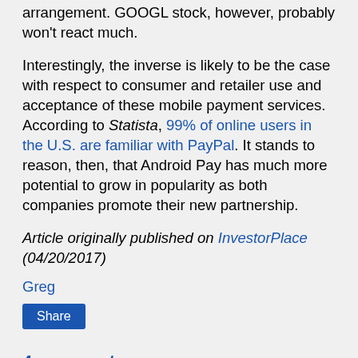arrangement. GOOGL stock, however, probably won't react much.
Interestingly, the inverse is likely to be the case with respect to consumer and retailer use and acceptance of these mobile payment services. According to Statista, 99% of online users in the U.S. are familiar with PayPal. It stands to reason, then, that Android Pay has much more potential to grow in popularity as both companies promote their new partnership.
Article originally published on InvestorPlace (04/20/2017)
Greg
Share
4 comments :
harish sharma July 13, 2020 at 3:26 AM
At least for the time being, Whole Foods' retail stores will